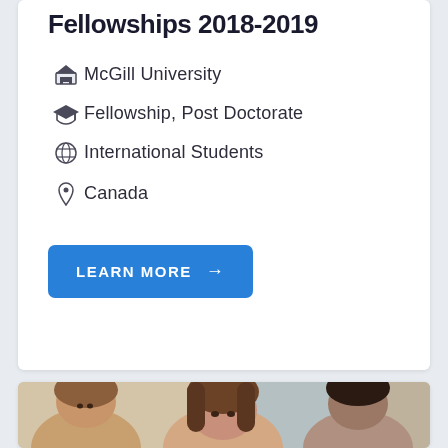Fellowships 2018-2019
McGill University
Fellowship, Post Doctorate
International Students
Canada
LEARN MORE →
[Figure (photo): Group of young adults, students, attentively listening or watching something, classroom or lecture setting]